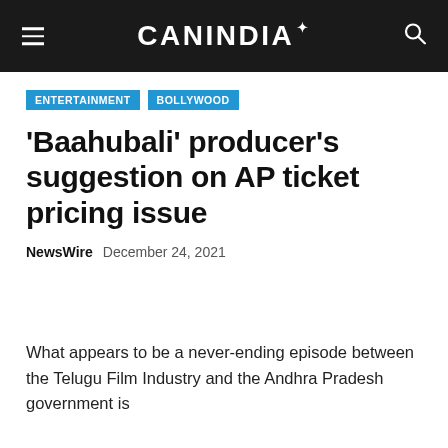CANINDIA
ENTERTAINMENT  BOLLYWOOD
'Baahubali' producer's suggestion on AP ticket pricing issue
NewsWire  December 24, 2021
What appears to be a never-ending episode between the Telugu Film Industry and the Andhra Pradesh government is